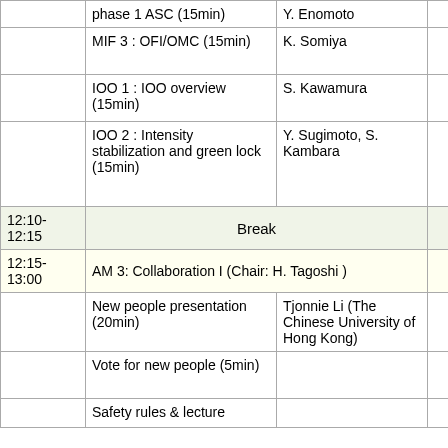| Time | Topic | Speaker | Links |
| --- | --- | --- | --- |
|  | phase 1 ASC (15min) | Y. Enomoto | ○ |
|  | MIF 3 : OFI/OMC (15min) | K. Somiya | 🌐 ○ |
|  | IOO 1 : IOO overview (15min) | S. Kawamura | 🌐 ○ |
|  | IOO 2 : Intensity stabilization and green lock (15min) | Y. Sugimoto, S. Kambara | 🌐 ○ 🌐 ○ |
| 12:10-12:15 | Break |  |  |
| 12:15-13:00 | AM 3: Collaboration I (Chair: H. Tagoshi ) |  |  |
|  | New people presentation (20min) | Tjonnie Li (The Chinese University of Hong Kong) | 🌐 × |
|  | Vote for new people (5min) |  | 🌐 × |
|  | Safety rules & lecture |  | 🌐 |